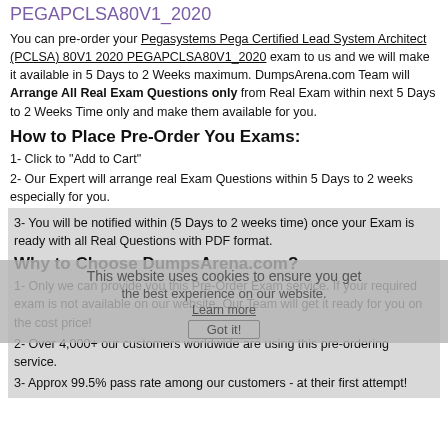PEGAPCLSA80V1_2020
You can pre-order your Pegasystems Pega Certified Lead System Architect (PCLSA) 80V1 2020 PEGAPCLSA80V1_2020 exam to us and we will make it available in 5 Days to 2 Weeks maximum. DumpsArena.com Team will Arrange All Real Exam Questions only from Real Exam within next 5 Days to 2 Weeks Time only and make them available for you.
How to Place Pre-Order You Exams:
1- Click to "Add to Cart"
2- Our Expert will arrange real Exam Questions within 5 Days to 2 weeks especially for you.
3- You will be notified within (5 Days to 2 weeks time) once your Exam is ready with all Real Questions with PDF format.
Why to Choose DumpsArena.com?
1- Only we can provide you this Pre-Order Exam service. If your required exam is not available on our website, Our Team will get it ready for you on the cost price!
2- Over 4,000+ our customers worldwide are using this pre-ordering service.
3- Approx 99.5% pass rate among our customers - at their first attempt!